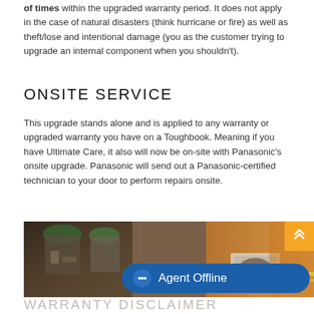of times within the upgraded warranty period. It does not apply in the case of natural disasters (think hurricane or fire) as well as theft/lose and intentional damage (you as the customer trying to upgrade an internal component when you shouldn't).
ONSITE SERVICE
This upgrade stands alone and is applied to any warranty or upgraded warranty you have on a Toughbook. Meaning if you have Ultimate Care, it also will now be on-site with Panasonic's onsite upgrade. Panasonic will send out a Panasonic-certified technician to your door to perform repairs onsite.
[Figure (photo): Firefighters in protective gear working at an emergency scene, one holding a Toughbook tablet device.]
WARRANTY DISCLAIMER